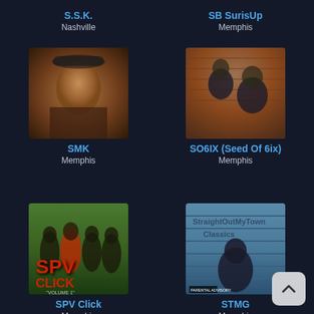S.S.K.
Nashville
SB SurisUp
Memphis
[Figure (photo): Artist photo of SMK, man wearing a cap against outdoor background]
SMK
Memphis
[Figure (photo): Artist photo of SO6IX (Seed Of 6ix), two people against brick wall background]
SO6IX (Seed Of 6ix)
Memphis
[Figure (photo): Album art for SPV Click, group of people with SPV Click text overlay]
SPV Click
Memphis
[Figure (photo): Album art for STMG against blue brick wall background]
STMG
Memphis